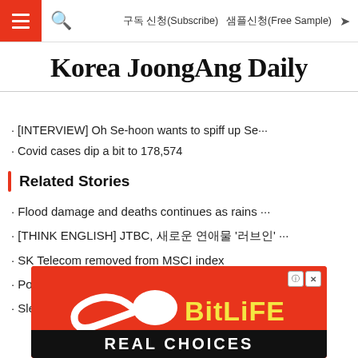구독 신청(Subscribe)   샘플신청(Free Sample)
Korea JoongAng Daily
· [INTERVIEW] Oh Se-hoon wants to spiff up Se···
· Covid cases dip a bit to 178,574
Related Stories
· Flood damage and deaths continues as rains ···
· [THINK ENGLISH] JTBC, 새로운 연애물 '러브인' ···
· SK Telecom removed from MSCI index
· Posco is merging its LNG companies
· Slew of celebrities donate to victims of floods
[Figure (advertisement): BitLife - Real Choices advertisement banner on red background with yellow BitLife logo text and white REAL CHOICES text on black strip]